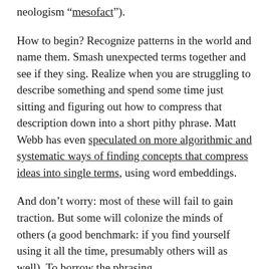neologism “mesofact”).
How to begin? Recognize patterns in the world and name them. Smash unexpected terms together and see if they sing. Realize when you are struggling to describe something and spend some time just sitting and figuring out how to compress that description down into a short pithy phrase. Matt Webb has even speculated on more algorithmic and systematic ways of finding concepts that compress ideas into single terms, using word embeddings.
And don’t worry: most of these will fail to gain traction. But some will colonize the minds of others (a good benchmark: if you find yourself using it all the time, presumably others will as well). To borrow the phrasing